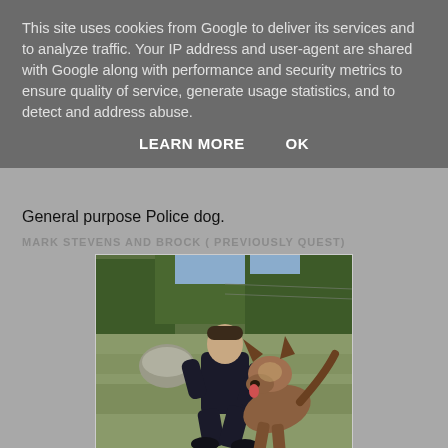This site uses cookies from Google to deliver its services and to analyze traffic. Your IP address and user-agent are shared with Google along with performance and security metrics to ensure quality of service, generate usage statistics, and to detect and address abuse.
LEARN MORE    OK
General purpose Police dog.
MARK STEVENS AND BROCK ( PREVIOUSLY QUEST)
[Figure (photo): A police officer in a dark uniform kneeling on grass next to a German Shepherd dog (police dog). The background shows trees, bushes, and a wire fence. A date stamp '08 14 2018' is visible in the bottom right corner of the photo.]